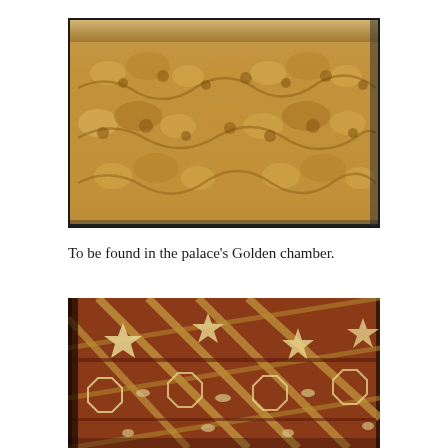[Figure (photo): Close-up photograph of intricate carved wooden panel with dense arabesques, scrolling vines, stylized birds, leaves, and geometric patterns. The carving is in warm sandy/golden wood tones. A plain border frame is visible at the top and sides.]
To be found in the palace's Golden chamber.
[Figure (photo): Photograph of ornate Islamic geometric woodwork ceiling or panel featuring star polygons, interlocking geometric lattice patterns, and marquetry in dark reddish-brown and ivory/white tones with gold accents. Stars, polygons, and calligraphic cartouches are visible.]